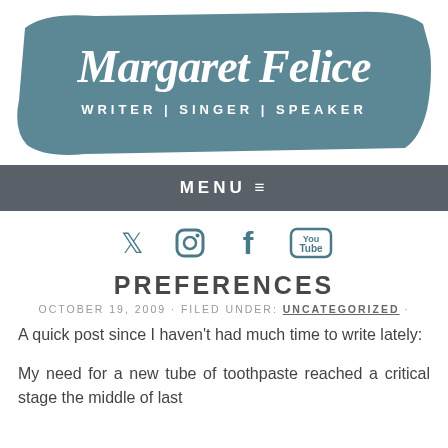[Figure (logo): Margaret Felice blog header banner with dark teal brushstroke background. Script text 'Margaret Felice' in white, below: 'WRITER | SINGER | SPEAKER' in white caps.]
MENU ≡
[Figure (infographic): Row of four social media icons in teal: Twitter bird, Instagram camera, Facebook f, YouTube logo]
PREFERENCES
OCTOBER 19, 2009 · FILED UNDER: UNCATEGORIZED ·
A quick post since I haven't had much time to write lately:
My need for a new tube of toothpaste reached a critical stage the middle of last